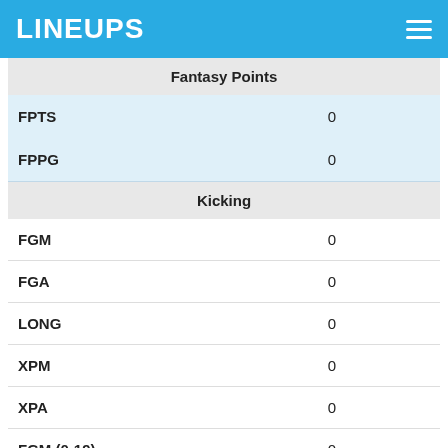LINEUPS
|  | Fantasy Points |
| --- | --- |
| FPTS | 0 |
| FPPG | 0 |
|  | Kicking |
| FGM | 0 |
| FGA | 0 |
| LONG | 0 |
| XPM | 0 |
| XPA | 0 |
| FGM (0-19) | 0 |
| FGM (20-29) | 0 |
| FGM (30-39) | 0 |